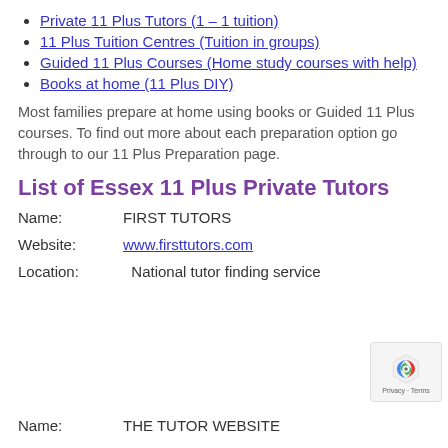Private 11 Plus Tutors (1 – 1 tuition)
11 Plus Tuition Centres (Tuition in groups)
Guided 11 Plus Courses (Home study courses with help)
Books at home (11 Plus DIY)
Most families prepare at home using books or Guided 11 Plus courses. To find out more about each preparation option go through to our 11 Plus Preparation page.
List of Essex 11 Plus Private Tutors
Name:   FIRST TUTORS
Website:   www.firsttutors.com
Location:   National tutor finding service
Name:   THE TUTOR WEBSITE